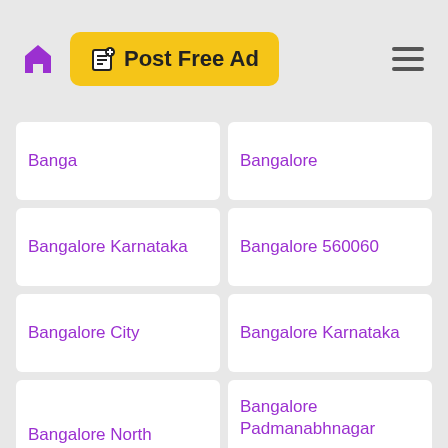Post Free Ad
Banga
Bangalore
Bangalore Karnataka
Bangalore 560060
Bangalore City
Bangalore Karnataka
Bangalore North
Bangalore Padmanabhnagar
Bangalore Rural
Bangalore South
Bangalore Urban
Bangalore.
Bangalorw
Bangalour
Bangalure
Bangeluru
Bangkagan
Bangkok